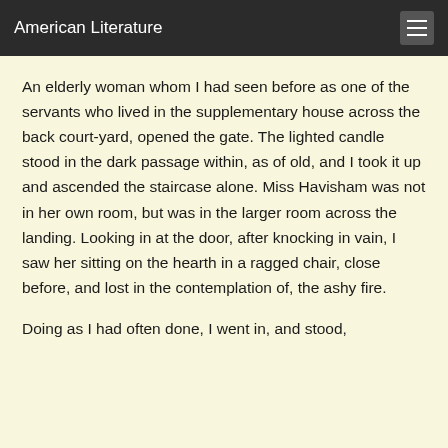American Literature
An elderly woman whom I had seen before as one of the servants who lived in the supplementary house across the back court-yard, opened the gate. The lighted candle stood in the dark passage within, as of old, and I took it up and ascended the staircase alone. Miss Havisham was not in her own room, but was in the larger room across the landing. Looking in at the door, after knocking in vain, I saw her sitting on the hearth in a ragged chair, close before, and lost in the contemplation of, the ashy fire.
Doing as I had often done, I went in, and stood,